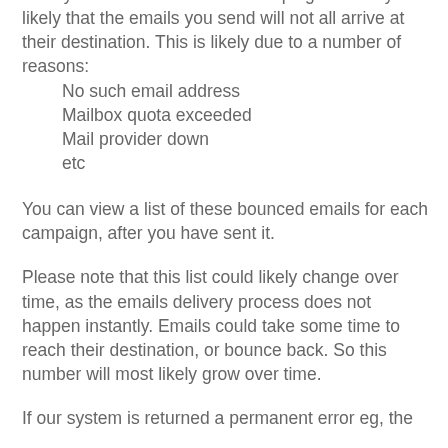After you have sent an email campaign it is very likely that the emails you send will not all arrive at their destination. This is likely due to a number of reasons:
No such email address
Mailbox quota exceeded
Mail provider down
etc
You can view a list of these bounced emails for each campaign, after you have sent it.
Please note that this list could likely change over time, as the emails delivery process does not happen instantly. Emails could take some time to reach their destination, or bounce back. So this number will most likely grow over time.
If our system is returned a permanent error eg, the